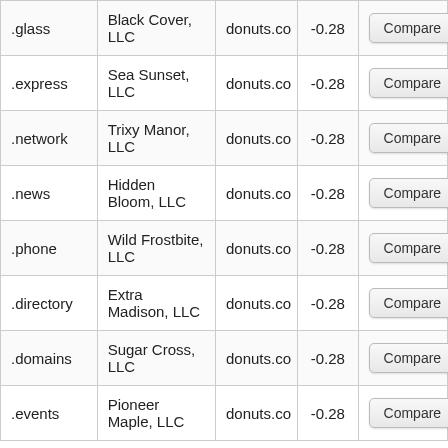| .glass | Black Cover, LLC | donuts.co | -0.28 | Compare |
| .express | Sea Sunset, LLC | donuts.co | -0.28 | Compare |
| .network | Trixy Manor, LLC | donuts.co | -0.28 | Compare |
| .news | Hidden Bloom, LLC | donuts.co | -0.28 | Compare |
| .phone | Wild Frostbite, LLC | donuts.co | -0.28 | Compare |
| .directory | Extra Madison, LLC | donuts.co | -0.28 | Compare |
| .domains | Sugar Cross, LLC | donuts.co | -0.28 | Compare |
| .events | Pioneer Maple, LLC | donuts.co | -0.28 | Compare |